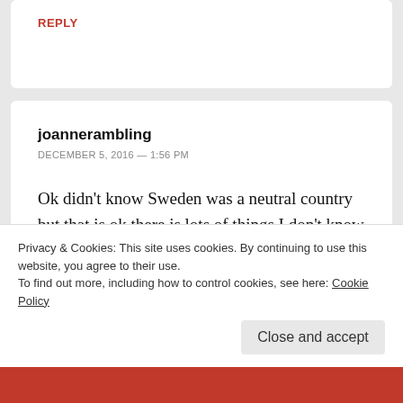REPLY
joannerambling
DECEMBER 5, 2016 — 1:56 PM
Ok didn’t know Sweden was a neutral country but that is ok there is lots of things I don’t know, nothing wrong with staying neutral unless you are doing it while sitting on a pointy fence then you may end up with a sore bum.
Privacy & Cookies: This site uses cookies. By continuing to use this website, you agree to their use.
To find out more, including how to control cookies, see here: Cookie Policy
Close and accept